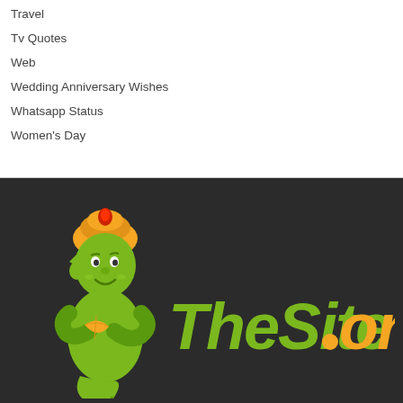Travel
Tv Quotes
Web
Wedding Anniversary Wishes
Whatsapp Status
Women's Day
[Figure (logo): TheSite.org logo: a green genie character with an orange turban on the left, next to the text 'TheSite' in bold green italic and '.org' in bold orange italic on a dark background.]